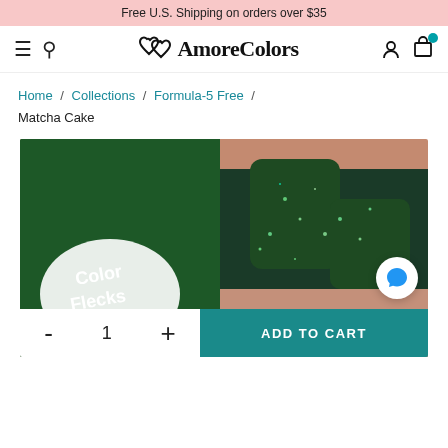Free U.S. Shipping on orders over $35
[Figure (logo): AmoreColors logo with double heart icon and brand name in serif font]
Home / Collections / Formula-5 Free / Matcha Cake
[Figure (photo): Close-up photo of dark green glittery nail polish bottle labeled ColorFlecks next to painted nails with matching dark green glitter polish]
- 1 +  ADD TO CART